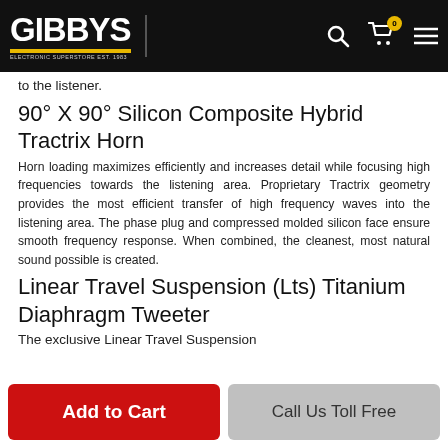GIBBYS — navigation bar with search, cart (0), and menu icons
to the listener.
90° X 90° Silicon Composite Hybrid Tractrix Horn
Horn loading maximizes efficiently and increases detail while focusing high frequencies towards the listening area. Proprietary Tractrix geometry provides the most efficient transfer of high frequency waves into the listening area. The phase plug and compressed molded silicon face ensure smooth frequency response. When combined, the cleanest, most natural sound possible is created.
Linear Travel Suspension (Lts) Titanium Diaphragm Tweeter
The exclusive Linear Travel Suspension
Add to Cart | Call Us Toll Free